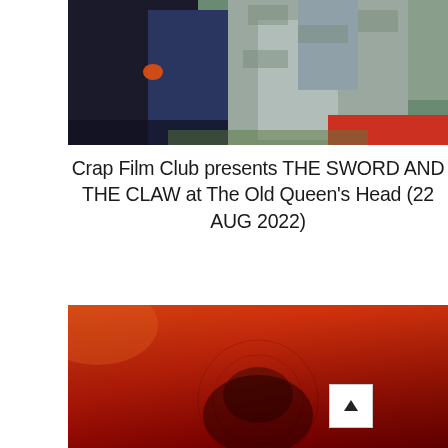[Figure (photo): Photo of two figures in medieval/fantasy costume against a stone wall background — one in dark robes, one in light grey/silver fabric, with a red element visible at the bottom.]
Crap Film Club presents THE SWORD AND THE CLAW at The Old Queen's Head (22 AUG 2022)
[Figure (photo): Photo with a predominantly deep red and orange gradient background, with a dark shadowy figure or face barely visible in the lower portion.]